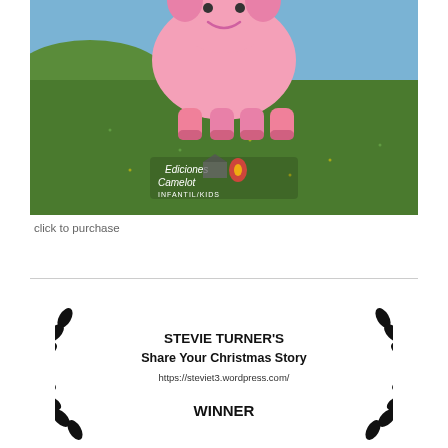[Figure (illustration): Book cover image showing a cartoon pink pig standing on green grass fields with a clear sky background. Ediciones Camelot publisher logo is overlaid at the bottom center of the image.]
click to purchase
[Figure (illustration): Award badge with laurel wreath design. Text reads: STEVIE TURNER'S Share Your Christmas Story https://steviet3.wordpress.com/ WINNER]